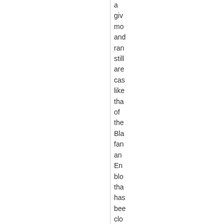a giv mo and ran still are cas like tha of the Bla fan an En blo tha has bee clo tied to the go